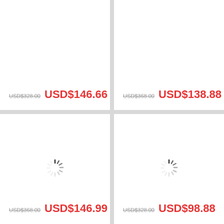USD$328.00  USD$146.66
USD$368.00  USD$138.88
[Figure (other): Loading spinner icon]
USD$368.00  USD$146.99
[Figure (other): Loading spinner icon]
USD$328.00  USD$98.88